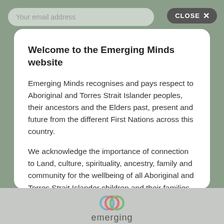[Figure (screenshot): Website modal dialog on a green-grey background, showing a close button in the top right and an email input field at top left]
Welcome to the Emerging Minds website
Emerging Minds recognises and pays respect to Aboriginal and Torres Strait Islander peoples, their ancestors and the Elders past, present and future from the different First Nations across this country.
We acknowledge the importance of connection to Land, culture, spirituality, ancestry, family and community for the wellbeing of all Aboriginal and Torres Strait Islander children and their families.
[Figure (logo): Emerging Minds logo at the bottom with circular icon elements and the word 'emerging' in grey text]